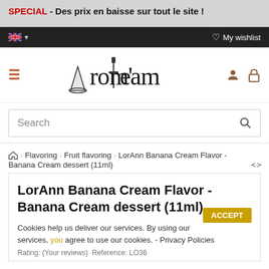SPECIAL - Des prix en baisse sur tout le site !
🇬🇧 ▾   ♡ My wishlist
[Figure (logo): Arom'Team logo with wizard hat and sword imagery]
Search
🏠 > Flavoring > Fruit flavoring > LorAnn Banana Cream Flavor - Banana Cream dessert (11ml)
LorAnn Banana Cream Flavor - Banana Cream dessert (11ml)
Cookies help us deliver our services. By using our services, you agree to use our cookies. - Privacy Policies
Rating: (Your reviews) Reference: LO36